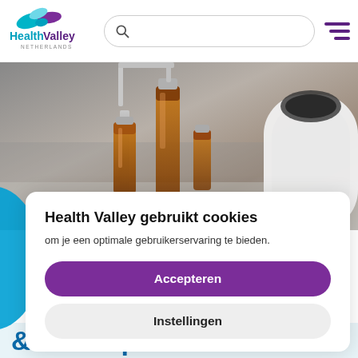[Figure (logo): Health Valley Netherlands logo with stylized bird/wave in teal and purple, text 'HealthValley' bold purple/teal, 'NETHERLANDS' small below]
[Figure (screenshot): Search bar with magnifying glass icon, rounded pill shape]
[Figure (photo): Close-up photo of laboratory vials/ampoules with amber liquid on a metallic surface]
Health Valley gebruikt cookies
om je een optimale gebruikerservaring te bieden.
Accepteren
Instellingen
& Development